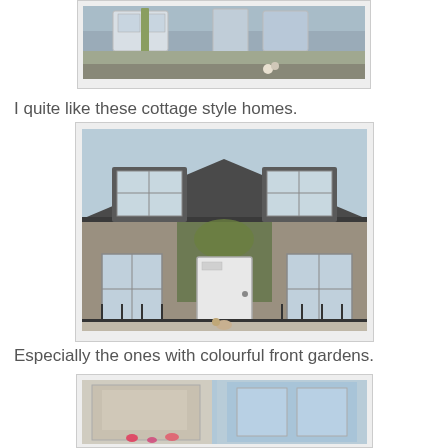[Figure (photo): Exterior of a stone cottage-style home with garden wall, white windows, a small tree, and a dog in the foreground.]
I quite like these cottage style homes.
[Figure (photo): Front view of a stone cottage with two dormer bay windows, white front door, climbing plants, iron fence, and a small dog on the pavement.]
Especially the ones with colourful front gardens.
[Figure (photo): Partial view of a colourful front garden of a cottage home.]